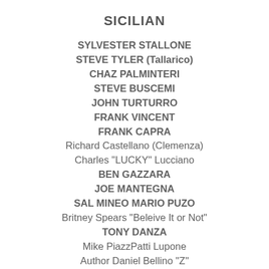SICILIAN
SYLVESTER STALLONE
STEVE TYLER (Tallarico)
CHAZ PALMINTERI
STEVE BUSCEMI
JOHN TURTURRO
FRANK VINCENT
FRANK CAPRA
Richard Castellano (Clemenza)
Charles "LUCKY" Lucciano
BEN GAZZARA
JOE MANTEGNA
SAL MINEO MARIO PUZO
Britney Spears "Beleive It or Not"
TONY DANZA
Mike PiazzPatti Lupone
Author Daniel Bellino "Z"